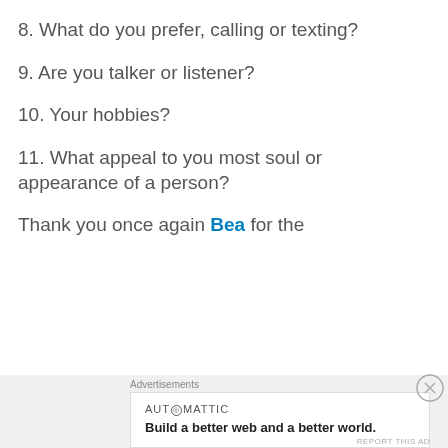8. What do you prefer, calling or texting?
9. Are you talker or listener?
10. Your hobbies?
11. What appeal to you most soul or appearance of a person?
Thank you once again Bea for the
Advertisements
AUTOMATTIC
Build a better web and a better world.